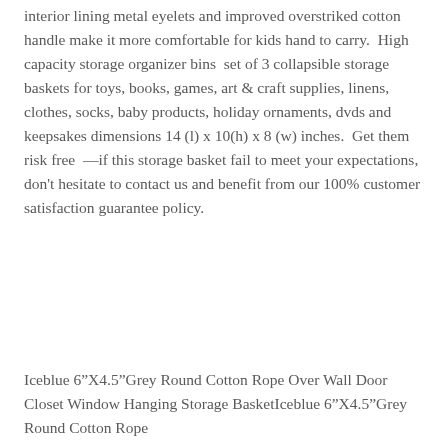interior lining metal eyelets and improved overstriked cotton handle make it more comfortable for kids hand to carry.  High capacity storage organizer bins  set of 3 collapsible storage baskets for toys, books, games, art & craft supplies, linens, clothes, socks, baby products, holiday ornaments, dvds and keepsakes dimensions 14 (l) x 10(h) x 8 (w) inches.  Get them risk free  —if this storage basket fail to meet your expectations, don't hesitate to contact us and benefit from our 100% customer satisfaction guarantee policy.
Iceblue 6"X4.5"Grey Round Cotton Rope Over Wall Door Closet Window Hanging Storage BasketIceblue 6"X4.5"Grey Round Cotton Rope